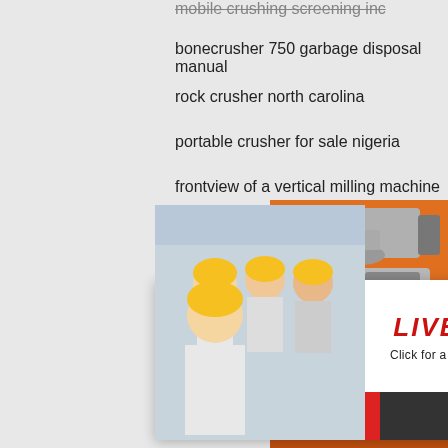mobile crushing screening inc
bonecrusher 750 garbage disposal manual
rock crusher north carolina
portable crusher for sale nigeria
frontview of a vertical milling machine
talc beneficiation wet process
limestone crushing manganese steel
mining
used
iron o
circula
used gold ore crusher manufacturer in south a
vietnam crusher sand
mobile concrete crushers northern ireland
quarry crushing equipment for sale in philippin
[Figure (screenshot): Live chat popup overlay with workers in hard hats, red LIVE CHAT text, Chat now and Chat later buttons]
[Figure (screenshot): Orange side ad panel with crusher machine images, Enjoy 3% discount, Click to Chat, Enquiry, and limingjlmofen@sina.com]